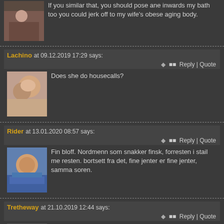If you similar that, you should pose ane inwards my bath too you could jerk off to my wife's obese aging body.
Lachino at 09.12.2019 17:29 says:
Does she do housecalls?
Rider at 13.01.2020 08:57 says:
Fin bloff. Nordmenn som snakker finsk, forresten i stail me resten. bortsett fra det, fine jenter er fine jenter, samma soren.
Tretheway at 21.10.2019 12:44 says:
I'd similar to be humiliated by having my marriedwoman acquire fucked & filled with someother man's jizz & so she makes me